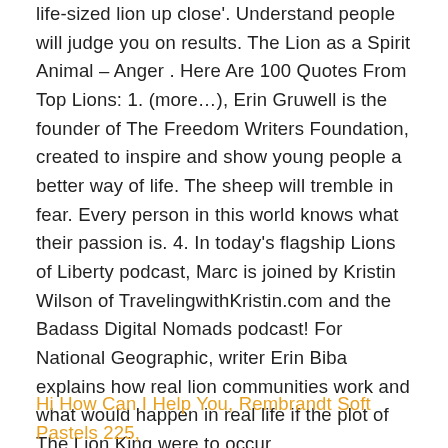life-sized lion up close'. Understand people will judge you on results. The Lion as a Spirit Animal – Anger . Here Are 100 Quotes From Top Lions: 1. (more...), Erin Gruwell is the founder of The Freedom Writers Foundation, created to inspire and show young people a better way of life. The sheep will tremble in fear. Every person in this world knows what their passion is. 4. In today's flagship Lions of Liberty podcast, Marc is joined by Kristin Wilson of TravelingwithKristin.com and the Badass Digital Nomads podcast! For National Geographic, writer Erin Biba explains how real lion communities work and what would happen in real life if the plot of The Lion King were to occur.
Hi How Can I Help You, Rembrandt Soft Pastels 225,